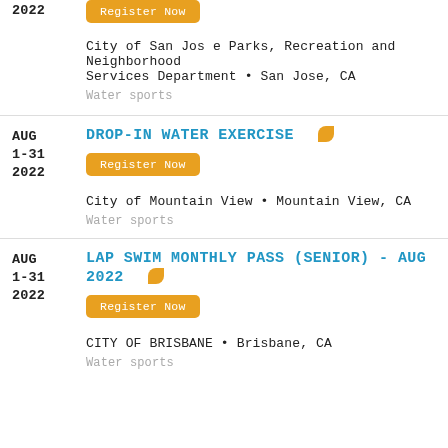2022
Register Now button (top, cropped entry)
City of San Jose Parks, Recreation and Neighborhood Services Department • San Jose, CA
Water sports
DROP-IN WATER EXERCISE
Register Now
City of Mountain View • Mountain View, CA
Water sports
LAP SWIM MONTHLY PASS (SENIOR) - AUG 2022
Register Now
CITY OF BRISBANE • Brisbane, CA
Water sports